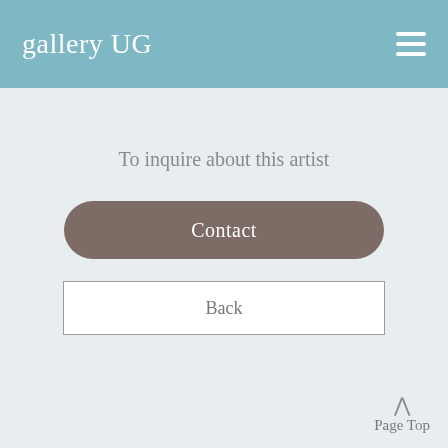gallery UG
To inquire about this artist
Contact
Back
Page Top